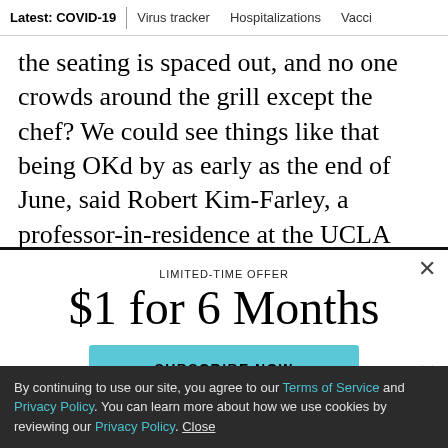Latest: COVID-19  |  Virus tracker  |  Hospitalizations  |  Vacci
the seating is spaced out, and no one crowds around the grill except the chef? We could see things like that being OKd by as early as the end of June, said Robert Kim-Farley, a professor-in-residence at the UCLA Fielding School of Public Health and an infectious disease expert
LIMITED-TIME OFFER
$1 for 6 Months
SUBSCRIBE NOW
By continuing to use our site, you agree to our Terms of Service and Privacy Policy. You can learn more about how we use cookies by reviewing our Privacy Policy. Close